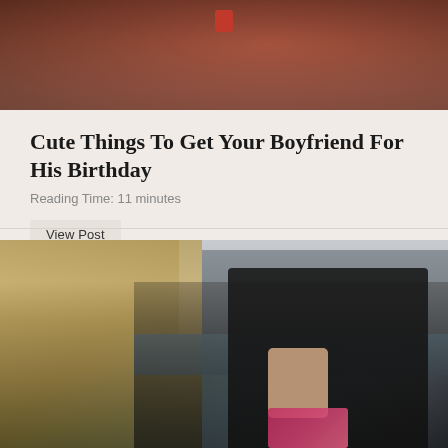[Figure (photo): Close-up photo of hands, partially cropped at top, showing a person holding a small red object, dark and warm toned background]
Cute Things To Get Your Boyfriend For His Birthday
Reading Time: 11 minutes
View Post
[Figure (photo): Two men kissing outdoors near a river, with a weeping willow tree on the left and a large building in the background, one person wearing a black puffer jacket, holding flowers]